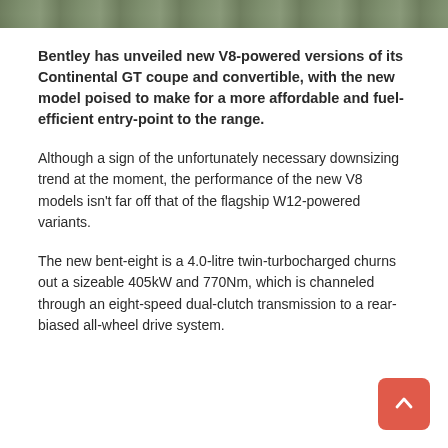[Figure (photo): Partial image strip at top of page, showing a blurred outdoor/nature scene in muted greens and grays]
Bentley has unveiled new V8-powered versions of its Continental GT coupe and convertible, with the new model poised to make for a more affordable and fuel-efficient entry-point to the range.
Although a sign of the unfortunately necessary downsizing trend at the moment, the performance of the new V8 models isn't far off that of the flagship W12-powered variants.
The new bent-eight is a 4.0-litre twin-turbocharged churns out a sizeable 405kW and 770Nm, which is channeled through an eight-speed dual-clutch transmission to a rear-biased all-wheel drive system.